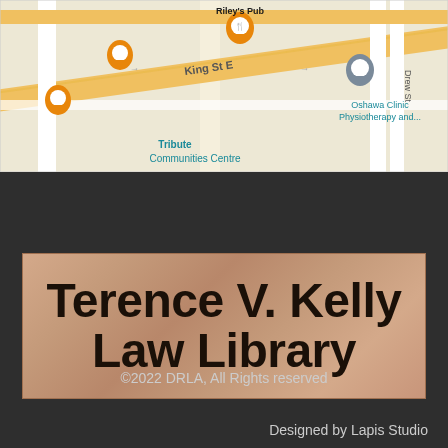[Figure (map): Google Maps screenshot showing the area around King St E in Oshawa, Ontario, Canada. Shows landmarks including Riley's Pub, Oshawa Clinic Physiotherapy, Tribute Communities Centre. Streets visible include King St E and King St, Drew St.]
[Figure (photo): Brushed bronze/copper metallic sign reading 'Terence V. Kelly Law Library' in large bold black text on a rectangular plaque.]
©2022 DRLA, All Rights reserved
Designed by Lapis Studio